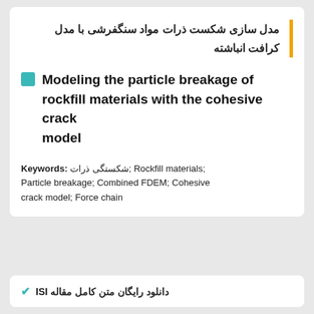مدل سازی شکست ذرات مواد سنگفرشی با مدل کرافت انباشته
Modeling the particle breakage of rockfill materials with the cohesive crack model
Keywords: شکستگی ذرات; Rockfill materials; Particle breakage; Combined FDEM; Cohesive crack model; Force chain
✔ دانلود رایگان متن کامل مقاله ISI